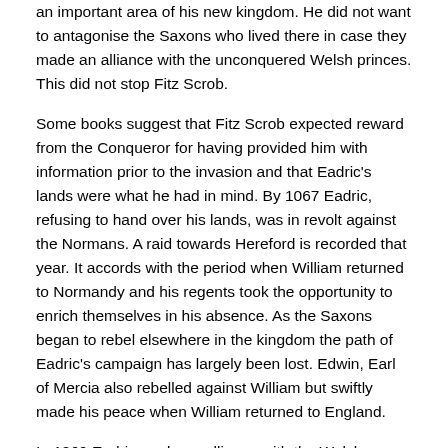an important area of his new kingdom.  He did not want to antagonise the Saxons who lived there in case they made an alliance with the unconquered Welsh princes. This did not stop Fitz Scrob.
Some books suggest that Fitz Scrob expected reward from the Conqueror for having provided him with information prior to the invasion and that Eadric's lands were what he had in mind. By 1067 Eadric, refusing to hand over his lands, was in revolt against the Normans.  A raid towards Hereford is recorded that year.  It accords with the period when William returned to Normandy and his regents took the opportunity to enrich themselves in his absence. As the Saxons began to rebel elsewhere in the kingdom the path of Eadric's campaign has largely been lost.  Edwin, Earl of Mercia also rebelled against William but swiftly made his peace when William returned to England.
In 1069 Eadric made an alliance with the Welsh, besieged Shrewsbury and burned the town. Ultimately William the Conqueror  handed approximately 7/8th of Shropshire over to Norman land holders – after all Eadric had made an oath to him when William became king and even though he had been